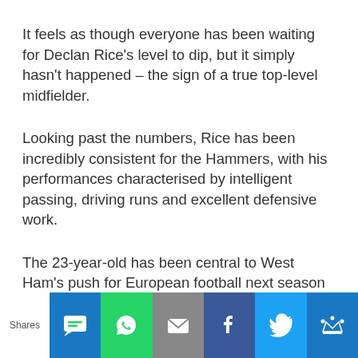It feels as though everyone has been waiting for Declan Rice's level to dip, but it simply hasn't happened – the sign of a true top-level midfielder.
Looking past the numbers, Rice has been incredibly consistent for the Hammers, with his performances characterised by intelligent passing, driving runs and excellent defensive work.
The 23-year-old has been central to West Ham's push for European football next season after a memorable Europa League campaign this term. The sky is the limit.
Shares